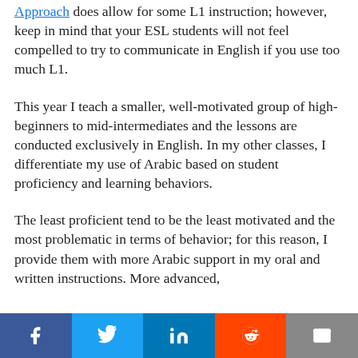Approach does allow for some L1 instruction; however, keep in mind that your ESL students will not feel compelled to try to communicate in English if you use too much L1.
This year I teach a smaller, well-motivated group of high-beginners to mid-intermediates and the lessons are conducted exclusively in English. In my other classes, I differentiate my use of Arabic based on student proficiency and learning behaviors.
The least proficient tend to be the least motivated and the most problematic in terms of behavior; for this reason, I provide them with more Arabic support in my oral and written instructions. More advanced,
[Figure (other): Social sharing bar with Facebook, Twitter, LinkedIn, Reddit, and Email buttons]